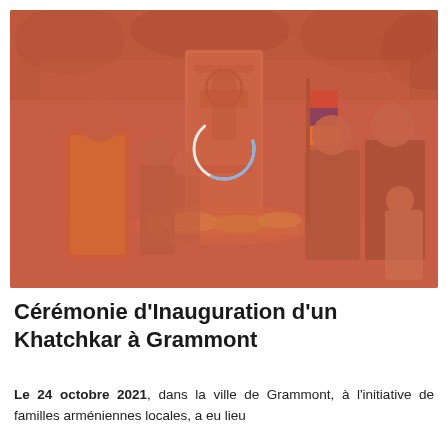[Figure (photo): Ceremony photo with people gathered around a Khatchkar stone monument in an outdoor setting. Attendees include a clergy member in orange/yellow robes, several adults and children, and an Armenian flag visible. Photo has a salmon/coral color overlay tint.]
Cérémonie d'Inauguration d'un Khatchkar à Grammont
Le 24 octobre 2021, dans la ville de Grammont, à l'initiative de familles arméniennes locales, a eu lieu